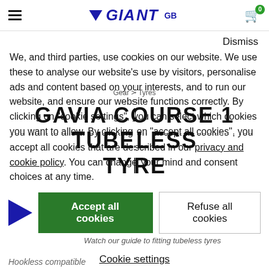Giant GB - header with hamburger menu, Giant logo, GB label, and cart icon with 0 badge
Dismiss
We, and third parties, use cookies on our website. We use these to analyse our website's use by visitors, personalise ads and content based on your interests, and to run our website, and ensure our website functions correctly. By clicking on "cookie settings", you can select which cookies you want to allow. By clicking on "accept all cookies", you accept all cookies that are described in our privacy and cookie policy. You can change your mind and consent choices at any time.
GAVIA COURSE 1 TUBELESS TYRE
Gear > Tyres
Accept all cookies
Refuse all cookies
Watch our guide to fitting tubeless tyres
Cookie settings
Hookless compatible